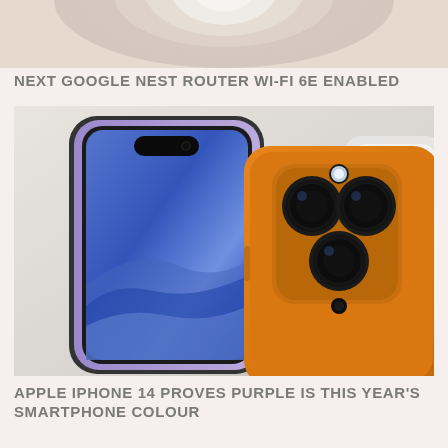[Figure (photo): Partial view of a round Google Nest router device on a pinkish-beige background, cropped at the top of the page]
NEXT GOOGLE NEST ROUTER WI-FI 6E ENABLED
[Figure (photo): Two iPhones shown – one purple (front facing, showing a blue/purple wallpaper) and one orange/gold (showing the back with triple camera module). A white device is partially visible in the background.]
APPLE IPHONE 14 PROVES PURPLE IS THIS YEAR'S SMARTPHONE COLOUR